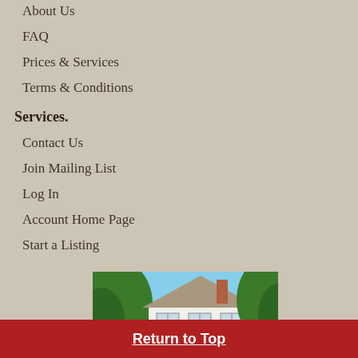About Us
FAQ
Prices & Services
Terms & Conditions
Services.
Contact Us
Join Mailing List
Log In
Account Home Page
Start a Listing
[Figure (photo): A white two-story house with a peaked roof and chimney, surrounded by green trees against a blue sky.]
Return to Top